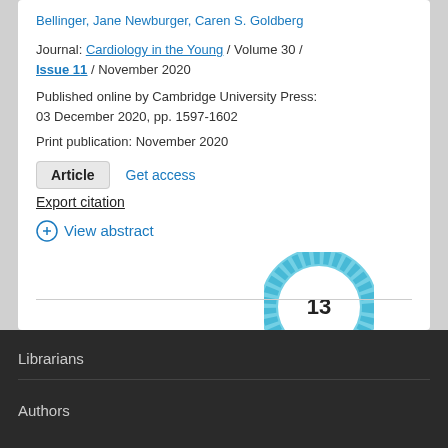Bellinger, Jane Newburger, Caren S. Goldberg
Journal: Cardiology in the Young / Volume 30 / Issue 11 / November 2020
Published online by Cambridge University Press: 03 December 2020, pp. 1597-1602
Print publication: November 2020
Article  Get access
Export citation
View abstract
[Figure (other): Altmetric donut badge showing citation score of 13, rendered as a blue circular ring with white center displaying the number 13]
Librarians
Authors